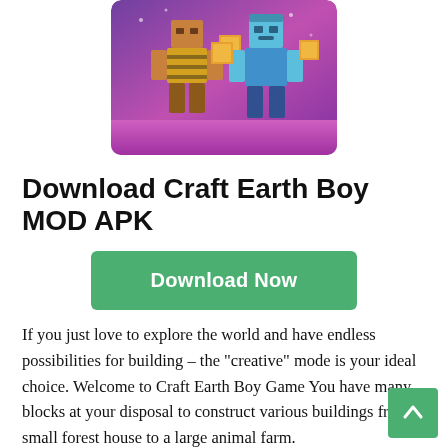[Figure (screenshot): Game screenshot showing two Minecraft-style block characters on a purple/pink background. One character wears brown/yellow armor, the other wears blue outfit.]
Download Craft Earth Boy MOD APK
Download Now
If you just love to explore the world and have endless possibilities for building – the “creative” mode is your ideal choice. Welcome to Craft Earth Boy Game You have many blocks at your disposal to construct various buildings from a small forest house to a large animal farm.
This Exploration game contains a large number of